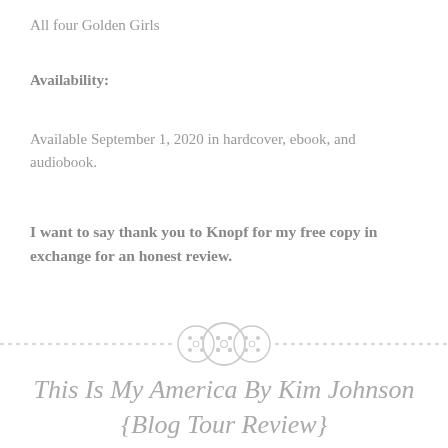All four Golden Girls
Availability:
Available September 1, 2020 in hardcover, ebook, and audiobook.
I want to say thank you to Knopf for my free copy in exchange for an honest review.
[Figure (illustration): Three overlapping button icons forming a decorative section divider with dashed lines on each side]
This Is My America By Kim Johnson {Blog Tour Review}